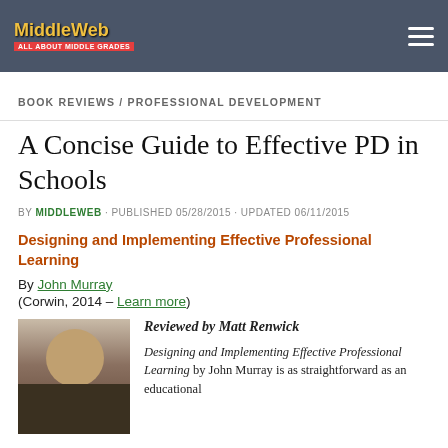MiddleWeb — All About Middle Grades
BOOK REVIEWS / PROFESSIONAL DEVELOPMENT
A Concise Guide to Effective PD in Schools
BY MIDDLEWEB · PUBLISHED 05/28/2015 · UPDATED 06/11/2015
Designing and Implementing Effective Professional Learning
By John Murray
(Corwin, 2014 – Learn more)
[Figure (photo): Photo of reviewer Matt Renwick, a man with glasses and short hair]
Reviewed by Matt Renwick
Designing and Implementing Effective Professional Learning by John Murray is as straightforward as an educational